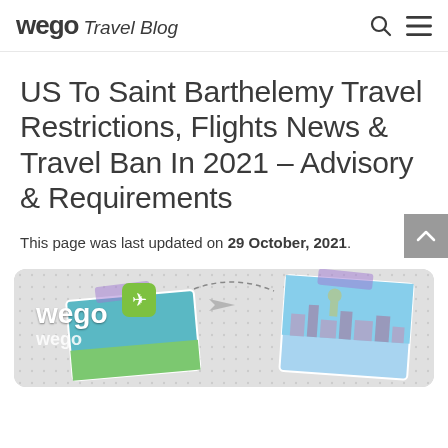wego Travel Blog
US To Saint Barthelemy Travel Restrictions, Flights News & Travel Ban In 2021 – Advisory & Requirements
This page was last updated on 29 October, 2021.
[Figure (illustration): Wego travel blog promotional image with wego logo, airplane icon, paper airplane, travel postcards showing a tropical scene and the Statue of Liberty with New York skyline, on a light grey dotted background]